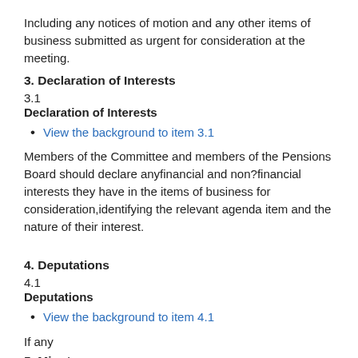Including any notices of motion and any other items of business submitted as urgent for consideration at the meeting.
3. Declaration of Interests
3.1
Declaration of Interests
View the background to item 3.1
Members of the Committee and members of the Pensions Board should declare anyfinancial and non?financial interests they have in the items of business for consideration,identifying the relevant agenda item and the nature of their interest.
4. Deputations
4.1
Deputations
View the background to item 4.1
If any
5. Minutes